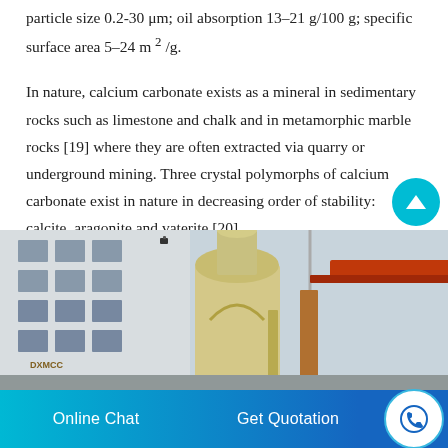particle size 0.2-30 μm; oil absorption 13–21 g/100 g; specific surface area 5–24 m 2 /g.
In nature, calcium carbonate exists as a mineral in sedimentary rocks such as limestone and chalk and in metamorphic marble rocks [19] where they are often extracted via quarry or underground mining. Three crystal polymorphs of calcium carbonate exist in nature in decreasing order of stability: calcite, aragonite and vaterite [20].
[Figure (photo): Industrial facility photograph showing a building exterior with windows and industrial processing equipment including cylindrical tanks/silos.]
Online Chat   Get Quotation